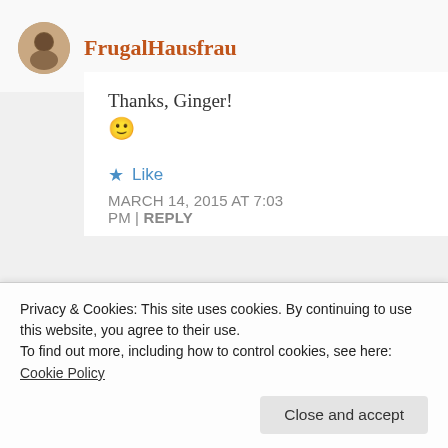FrugalHausfrau
Thanks, Ginger! 🙂
Like
MARCH 14, 2015 AT 7:03 PM | REPLY
for sharing & happy FF.
Privacy & Cookies: This site uses cookies. By continuing to use this website, you agree to their use.
To find out more, including how to control cookies, see here:
Cookie Policy
Close and accept